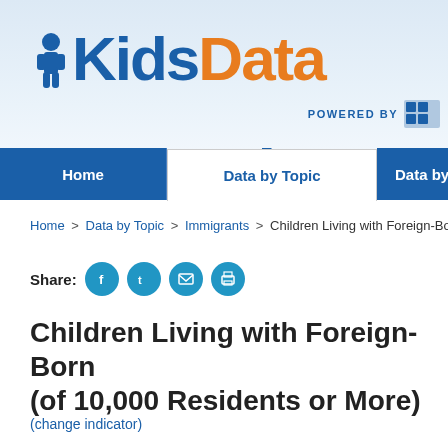[Figure (logo): KidsData logo with blue 'Kids' text and orange 'Data' text, including a child figure icon, and 'POWERED BY' text with a partner logo]
Home | Data by Topic | Data by Region
Home > Data by Topic > Immigrants > Children Living with Foreign-Born Pa...
Share:
Children Living with Foreign-Born (of 10,000 Residents or More)
(change indicator)